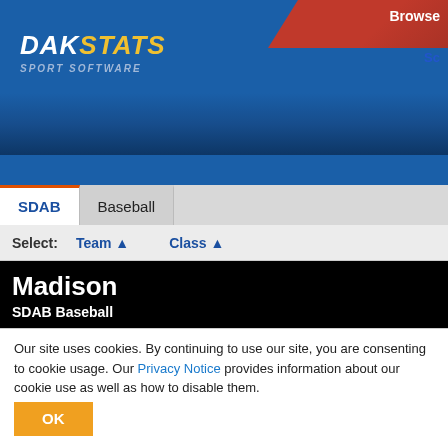[Figure (screenshot): DakStats Sport Software logo with blue background header]
Browse
Sc
SDAB  Baseball
Select:   Team ▲   Class ▲
Madison
SDAB Baseball
Quick Links   SDAB | Class B |  | Madison
Team Page   Roster   Schedule
Career Stats
Team Career Stats
Individual Career Stats
Stats by DakStats Copyright © Daktronics, Inc.
Our site uses cookies. By continuing to use our site, you are consenting to cookie usage. Our Privacy Notice provides information about our cookie use as well as how to disable them.